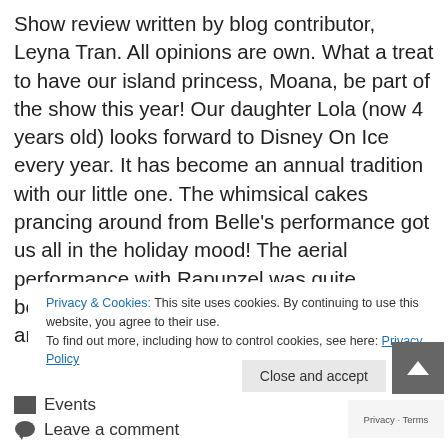Show review written by blog contributor, Leyna Tran. All opinions are own. What a treat to have our island princess, Moana, be part of the show this year! Our daughter Lola (now 4 years old) looks forward to Disney On Ice every year. It has become an annual tradition with our little one. The whimsical cakes prancing around from Belle's performance got us all in the holiday mood! The aerial performance with Rapunzel was quite beautiful! The fabric mimicked her hair as her and Flynn Ryder gracefully flew on it.
Privacy & Cookies: This site uses cookies. By continuing to use this website, you agree to their use.
To find out more, including how to control cookies, see here: Privacy Policy
Close and accept
Events
Leave a comment